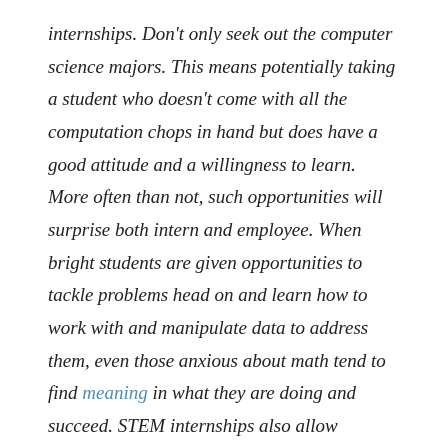internships. Don't only seek out the computer science majors. This means potentially taking a student who doesn't come with all the computation chops in hand but does have a good attitude and a willingness to learn. More often than not, such opportunities will surprise both intern and employee. When bright students are given opportunities to tackle problems head on and learn how to work with and manipulate data to address them, even those anxious about math tend to find meaning in what they are doing and succeed. STEM internships also allow students to connect with senior leaders who might have had to overcome a